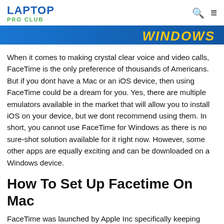LAPTOP PRO CLUB
[Figure (illustration): Banner image with blue background and 'WINDOWS' text in yellow with italic bold styling on the right side]
When it comes to making crystal clear voice and video calls, FaceTime is the only preference of thousands of Americans. But if you dont have a Mac or an iOS device, then using FaceTime could be a dream for you. Yes, there are multiple emulators available in the market that will allow you to install iOS on your device, but we dont recommend using them. In short, you cannot use FaceTime for Windows as there is no sure-shot solution available for it right now. However, some other apps are equally exciting and can be downloaded on a Windows device.
How To Set Up Facetime On Mac
FaceTime was launched by Apple Inc specifically keeping